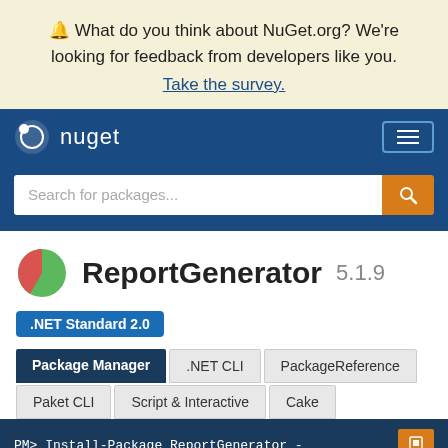🔔 What do you think about NuGet.org? We're looking for feedback from developers like you. Take the survey.
nuget
Search for packages...
ReportGenerator 5.1.9
.NET Standard 2.0
Package Manager | .NET CLI | PackageReference | Paket CLI | Script & Interactive | Cake
PM> Install-Package ReportGenerator -